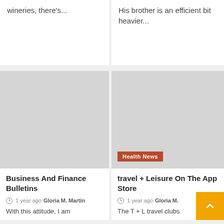wineries, there's...
His brother is an efficient bit heavier...
[Figure (photo): Gray placeholder image for article about Business And Finance Bulletins]
Business And Finance Bulletins
1 year ago  Gloria M. Martin
With this attitude, I am
[Figure (photo): Gray placeholder image for article about travel + Leisure On The App Store, with Health News badge]
Health News
travel + Leisure On The App Store
1 year ago  Gloria M.
The T + L travel clubs